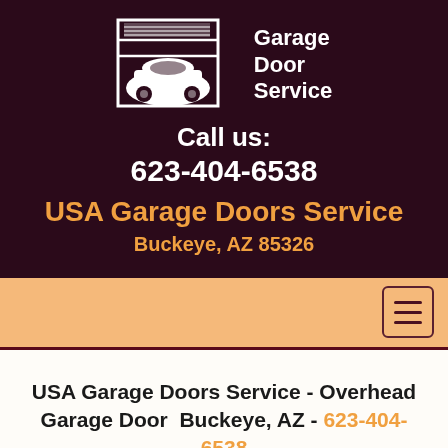[Figure (logo): Garage Door Service logo with white silhouette of a car in front of a garage door, with text 'Garage Door Service']
Call us:
623-404-6538
USA Garage Doors Service
Buckeye, AZ 85326
[Figure (other): Navigation bar with hamburger menu icon]
USA Garage Doors Service - Overhead Garage Door  Buckeye, AZ - 623-404-6538
Overhead doors, also known as sectional garage doors,